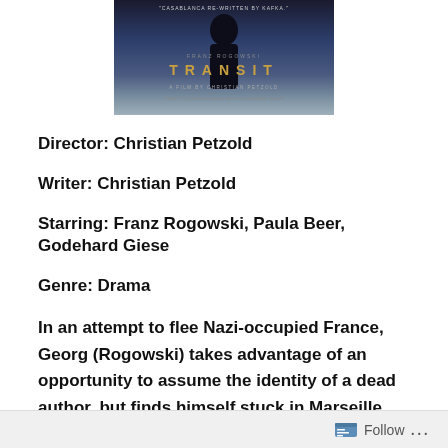[Figure (photo): Movie poster for TRANSIT directed by Christian Petzold, featuring a dark silhouette against a blue-grey background with gold lettering spelling TRANSIT]
Director: Christian Petzold
Writer: Christian Petzold
Starring: Franz Rogowski, Paula Beer, Godehard Giese
Genre: Drama
In an attempt to flee Nazi-occupied France, Georg (Rogowski) takes advantage of an opportunity to assume the identity of a dead author, but finds himself stuck in Marseille, where he meets and falls in live
Follow